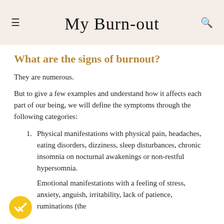My Burn-out
What are the signs of burnout?
They are numerous.
But to give a few examples and understand how it affects each part of our being, we will define the symptoms through the following categories:
Physical manifestations with physical pain, headaches, eating disorders, dizziness, sleep disturbances, chronic insomnia on nocturnal awakenings or non-restful hypersomnia.
Emotional manifestations with a feeling of stress, anxiety, anguish, irritability, lack of patience, ruminations (the